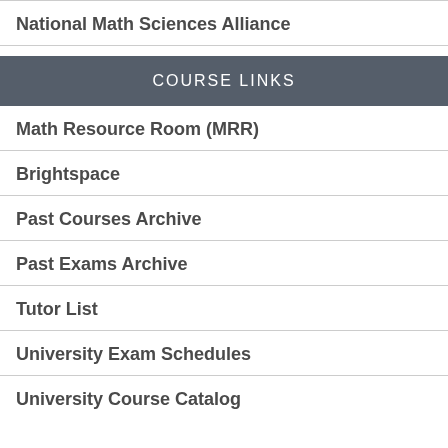National Math Sciences Alliance
COURSE LINKS
Math Resource Room (MRR)
Brightspace
Past Courses Archive
Past Exams Archive
Tutor List
University Exam Schedules
University Course Catalog